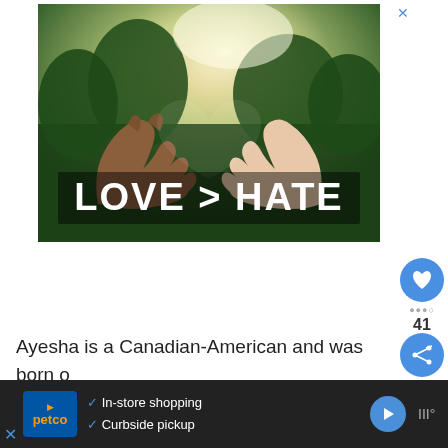[Figure (photo): Advertisement image showing two hands of different skin tones forming a heart shape against a green nature background, with bold white text reading LOVE > HATE]
Ayesha is a Canadian-American and was born on March 23, 1989. She wanted to be an actress, so she m...
[Figure (screenshot): Petco bottom banner ad showing in-store shopping and curbside pickup checkmarks with navigation arrow button]